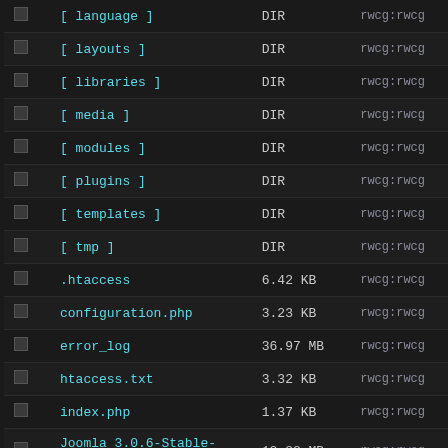|  | Name | Size | Owner |
| --- | --- | --- | --- |
|  | [ language ] | DIR | rwcg:rwcg |
|  | [ layouts ] | DIR | rwcg:rwcg |
|  | [ libraries ] | DIR | rwcg:rwcg |
|  | [ media ] | DIR | rwcg:rwcg |
|  | [ modules ] | DIR | rwcg:rwcg |
|  | [ plugins ] | DIR | rwcg:rwcg |
|  | [ templates ] | DIR | rwcg:rwcg |
|  | [ tmp ] | DIR | rwcg:rwcg |
|  | .htaccess | 6.42 KB | rwcg:rwcg |
|  | configuration.php | 3.23 KB | rwcg:rwcg |
|  | error_log | 36.97 MB | rwcg:rwcg |
|  | htaccess.txt | 3.32 KB | rwcg:rwcg |
|  | index.php | 1.37 KB | rwcg:rwcg |
|  | Joomla_3.0.6-Stable-Full_Package.zip | 12.88 MB | rwcg:rwcg |
|  | LICENSE.txt | 17.67 KB | rwcg:rwcg |
|  | README.txt | 4.70 KB | rwcg:rwcg |